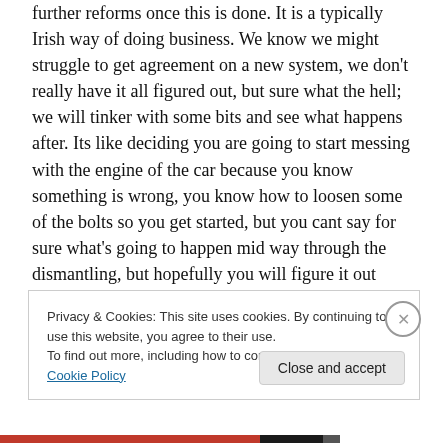further reforms once this is done. It is a typically Irish way of doing business. We know we might struggle to get agreement on a new system, we don't really have it all figured out, but sure what the hell; we will tinker with some bits and see what happens after. Its like deciding you are going to start messing with the engine of the car because you know something is wrong, you know how to loosen some of the bolts so you get started, but you cant say for sure what's going to happen mid way through the dismantling, but hopefully you will figure it out along the way.
Privacy & Cookies: This site uses cookies. By continuing to use this website, you agree to their use.
To find out more, including how to control cookies, see here: Cookie Policy